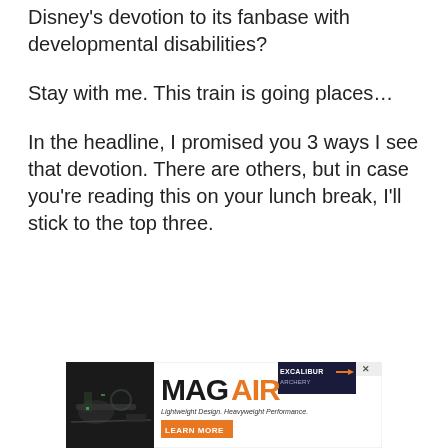Disney's devotion to its fanbase with developmental disabilities?
Stay with me. This train is going places…
In the headline, I promised you 3 ways I see that devotion. There are others, but in case you're reading this on your lunch break, I'll stick to the top three.
[Figure (other): Advertisement banner for MAG AIR product by Excalibur. Text reads: Lightweight Design. Heavyweight Performance. LEARN MORE button in orange.]